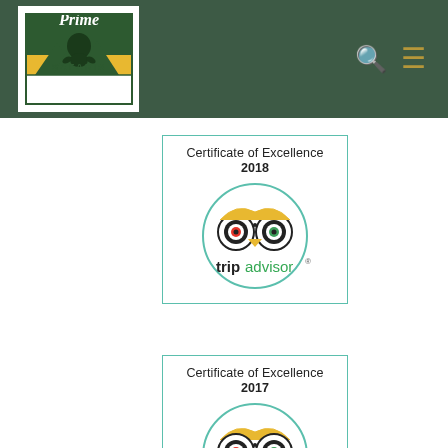[Figure (logo): Prime Safaris logo — white box with green border, green mountains, gorilla silhouette, yellow band, text 'Prime SAFARIS']
[Figure (logo): Search icon (magnifying glass) and hamburger menu icon in gold/tan color on dark green background, navigation header icons]
[Figure (other): TripAdvisor Certificate of Excellence 2018 badge — teal circle border with TripAdvisor owl logo and 'tripadvisor' text]
[Figure (other): TripAdvisor Certificate of Excellence 2017 badge — teal circle border with TripAdvisor owl logo and 'tripadvisor' text]